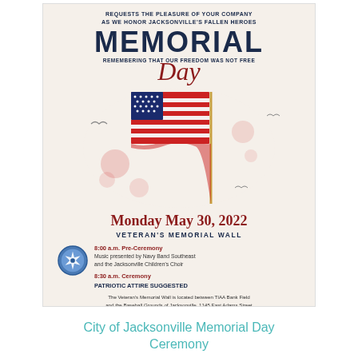[Figure (illustration): Memorial Day ceremony invitation poster for City of Jacksonville. Features an American flag illustration with patriotic splatter art. Text includes 'REQUESTS THE PLEASURE OF YOUR COMPANY AS WE HONOR JACKSONVILLE'S FALLEN HEROES', 'MEMORIAL', 'Day', 'REMEMBERING THAT OUR FREEDOM WAS NOT FREE', date 'Monday May 30, 2022', 'VETERAN'S MEMORIAL WALL', schedule details for 8:00 a.m. Pre-Ceremony and 8:30 a.m. Ceremony, and location information.]
City of Jacksonville Memorial Day Ceremony